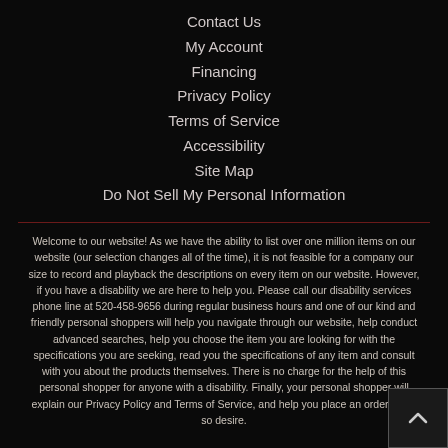Contact Us
My Account
Financing
Privacy Policy
Terms of Service
Accessibility
Site Map
Do Not Sell My Personal Information
Welcome to our website! As we have the ability to list over one million items on our website (our selection changes all of the time), it is not feasible for a company our size to record and playback the descriptions on every item on our website. However, if you have a disability we are here to help you. Please call our disability services phone line at 520-458-9656 during regular business hours and one of our kind and friendly personal shoppers will help you navigate through our website, help conduct advanced searches, help you choose the item you are looking for with the specifications you are seeking, read you the specifications of any item and consult with you about the products themselves. There is no charge for the help of this personal shopper for anyone with a disability. Finally, your personal shopper will explain our Privacy Policy and Terms of Service, and help you place an order if you so desire.